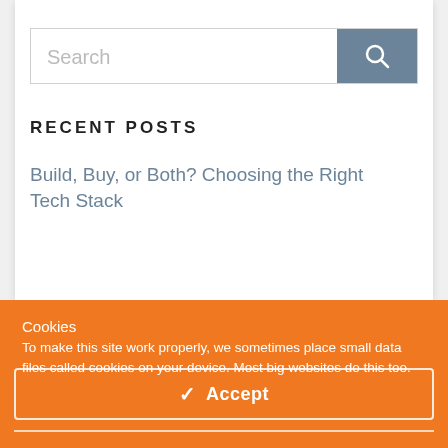[Figure (screenshot): Search bar with text input field and a blue-grey search button with a magnifying glass icon]
RECENT POSTS
Build, Buy, or Both? Choosing the Right Tech Stack
Cookies
To make this site work properly, we sometimes place small data files called cookies on your device. Most big websites do this too.
✓  Accept